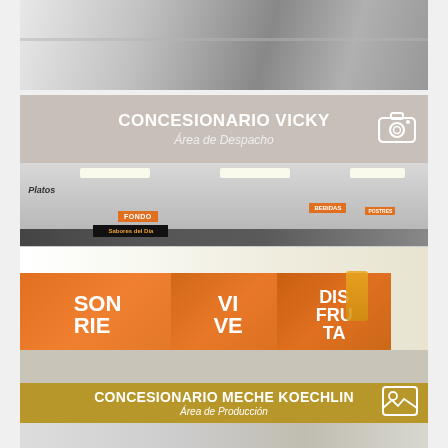[Figure (photo): Top strip photo of a cafeteria kitchen/counter area, showing stainless steel surfaces and ceiling lights]
CONCESIONARIO VICKY
Área de Despacho
[Figure (photo): Food service counter area with orange branded panels reading SONRÍE, VIVE, DISFRUTA. Signs for FONDO, BEBIDAS, and Sabores del Día visible above the counter. Cafeteria-style serving area with juice dispensers.]
CONCESIONARIO MECHE KOECHLIN
Área de Producción
[Figure (photo): Bottom strip of a kitchen/production area photo]